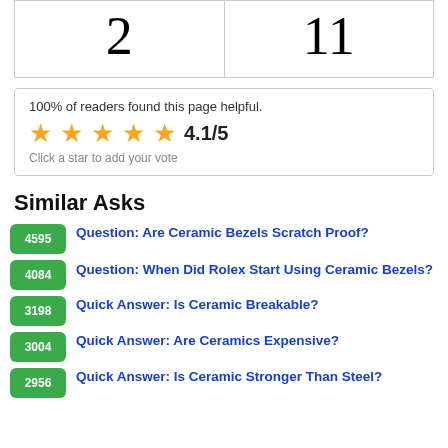| 2 | 11 |
100% of readers found this page helpful.
★★★★★ 4.1/5
Click a star to add your vote
Similar Asks
4595 Question: Are Ceramic Bezels Scratch Proof?
4084 Question: When Did Rolex Start Using Ceramic Bezels?
3198 Quick Answer: Is Ceramic Breakable?
3004 Quick Answer: Are Ceramics Expensive?
2956 Quick Answer: Is Ceramic Stronger Than Steel?